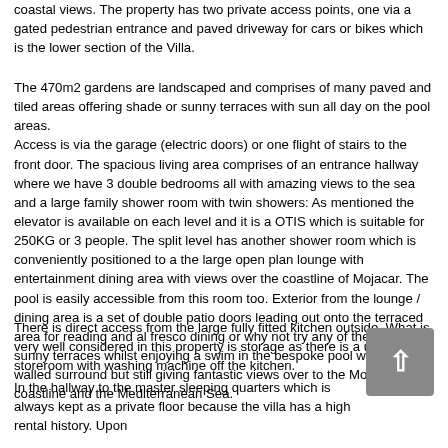coastal views. The property has two private access points, one via a gated pedestrian entrance and paved driveway for cars or bikes which is the lower section of the Villa.
The 470m2 gardens are landscaped and comprises of many paved and tiled areas offering shade or sunny terraces with sun all day on the pool areas.
Access is via the garage (electric doors) or one flight of stairs to the front door. The spacious living area comprises of an entrance hallway where we have 3 double bedrooms all with amazing views to the sea and a large family shower room with twin showers: As mentioned the elevator is available on each level and it is a OTIS which is suitable for 250KG or 3 people. The split level has another shower room which is conveniently positioned to a the large open plan lounge with entertainment dining area with views over the coastline of Mojacar. The pool is easily accessible from this room too. Exterior from the lounge / dining area is a set of double patio doors leading out onto the terraced area for reading and al fresco dining or why not try any of the large sunny terraces whilst enjoying a swim in the bespoke pool with low level walled surround but still giving fantastic views over to the Mojacar coastline and the Mediterranean Sea.
There is direct access from the large fully fitted kitchen outside. What is very well considered in this property is storage as there is a utility / storeroom with washing machine off the kitchen.
In the hallway to the master sleeping quarters which is always kept as a private floor because the villa has a high rental history. Upon